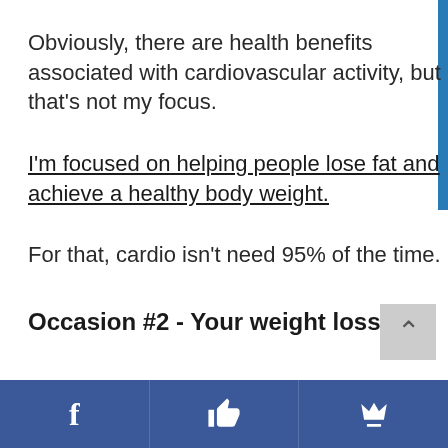Obviously, there are health benefits associated with cardiovascular activity, but that's not my focus.
I'm focused on helping people lose fat and achieve a healthy body weight.
For that, cardio isn't need 95% of the time.
Occasion #2 - Your weight loss
[Figure (other): Social media sharing bar at bottom with Facebook, thumbs up/like, and crown icons on dark blue background]